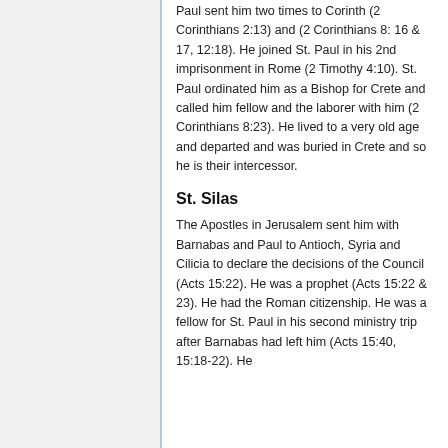Paul sent him two times to Corinth (2 Corinthians 2:13) and (2 Corinthians 8:16 & 17, 12:18). He joined St. Paul in his 2nd imprisonment in Rome (2 Timothy 4:10). St. Paul ordinated him as a Bishop for Crete and called him fellow and the laborer with him (2 Corinthians 8:23). He lived to a very old age and departed and was buried in Crete and so he is their intercessor.
St. Silas
The Apostles in Jerusalem sent him with Barnabas and Paul to Antioch, Syria and Cilicia to declare the decisions of the Council (Acts 15:22). He was a prophet (Acts 15:22 & 23). He had the Roman citizenship. He was a fellow for St. Paul in his second ministry trip after Barnabas had left him (Acts 15:40, 15:18-22). He